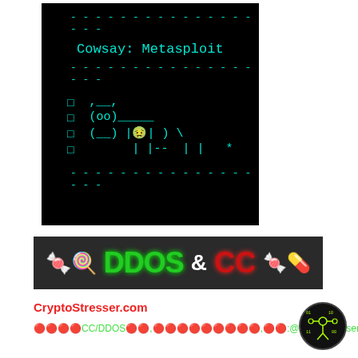[Figure (screenshot): Terminal window on black background showing cowsay Metasploit ASCII art with cyan/teal text. Shows dashes, title 'Cowsay: Metasploit', more dashes, then ASCII cow art rows with square bullet symbols, and closing dashes.]
[Figure (infographic): Dark banner strip with candy emoji icons on left and right, green 'DDOS' text, white '&' symbol, red 'CC' text.]
CryptoStresser.com
🔴🔴🔴🔴CC/DDOS🔴🔴,🔴🔴🔴🔴🔴🔴🔴🔴🔴,🔴🔴:@cryptostresser
[Figure (logo): Circular logo with black background and neon green circuit/drone-like icon]